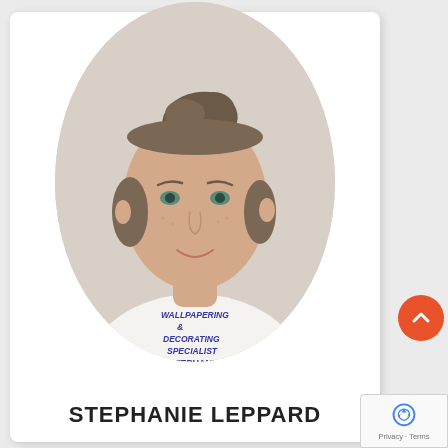[Figure (photo): Oval portrait photo of a young woman with brown hair pulled up in a bun, smiling, wearing a white t-shirt with text 'WALLPAPERING & DECORATING SPECIALIST STEPHANIE' printed in blue on the chest. Light beige/off-white background.]
STEPHANIE LEPPARD